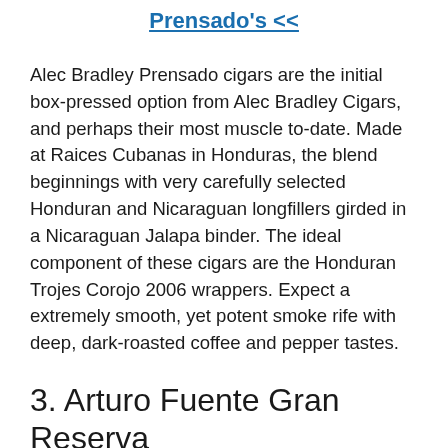Prensado's <<
Alec Bradley Prensado cigars are the initial box-pressed option from Alec Bradley Cigars, and perhaps their most muscle to-date. Made at Raices Cubanas in Honduras, the blend beginnings with very carefully selected Honduran and Nicaraguan longfillers girded in a Nicaraguan Jalapa binder. The ideal component of these cigars are the Honduran Trojes Corojo 2006 wrappers. Expect a extremely smooth, yet potent smoke rife with deep, dark-roasted coffee and pepper tastes.
3. Arturo Fuente Gran Reserva